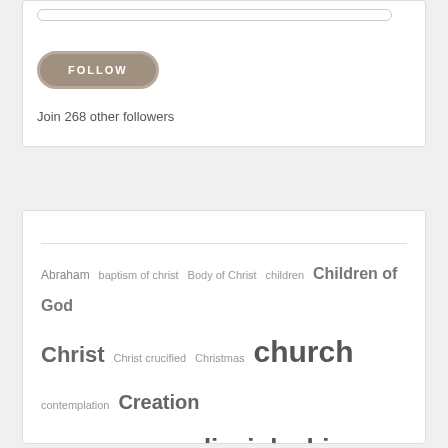FOLLOW
Join 268 other followers
Abraham baptism of christ Body of Christ children Children of God Christ Christ crucified Christmas church contemplation Creation Cross David Death discipleship Environmental collapse Epiphany Eucharist Exodus Faith forgiveness Freedom Genesis Glory Gospel Grace Heart Holy Hospitality I AM Identity Idols Individualism Jacob Jesus Jesus Christ Job Joseph Judgement Lent